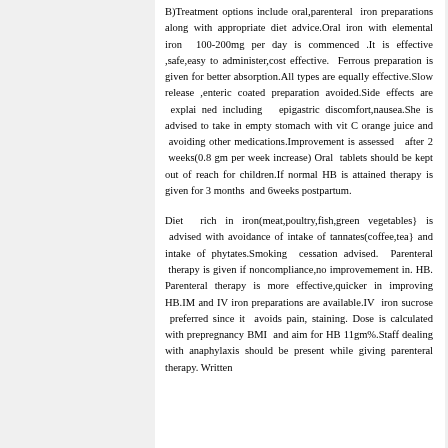B)Treatment options include oral,parenteral iron preparations along with appropriate diet advice.Oral iron with elemental iron 100-200mg per day is commenced .It is effective ,safe,easy to administer,cost effective. Ferrous preparation is given for better absorption.All types are equally effective.Slow release ,enteric coated preparation avoided.Side effects are explained including epigastric discomfort,nausea.She is advised to take in empty stomach with vit C orange juice and avoiding other medications.Improvement is assessed after 2 weeks(0.8 gm per week increase) Oral tablets should be kept out of reach for children.If normal HB is attained therapy is given for 3 months and 6weeks postpartum.
Diet rich in iron(meat,poultry,fish,green vegetables} is advised with avoidance of intake of tannates(coffee,tea} and intake of phytates.Smoking cessation advised. Parenteral therapy is given if noncompliance,no improvemement in. HB. Parenteral therapy is more effective,quicker in improving HB.IM and IV iron preparations are available.IV iron sucrose preferred since it avoids pain, staining. Dose is calculated with prepregnancy BMI and aim for HB 11gm%.Staff dealing with anaphylaxis should be present while giving parenteral therapy. Written